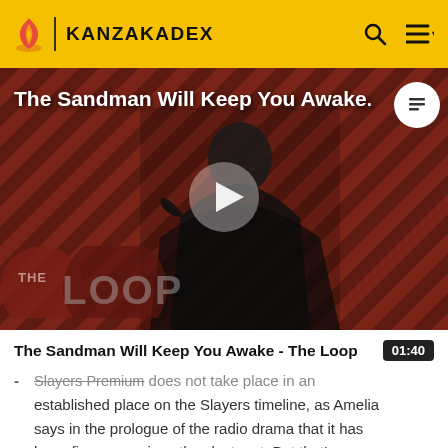KANZAKADEX
[Figure (screenshot): Video thumbnail for 'The Sandman Will Keep You Awake - The Loop' showing a dark-clad figure against a red diagonal striped background with The Loop logo overlay and a play button]
The Sandman Will Keep You Awake - The Loop
01:40
Slayers Premium does not take place in an established place on the Slayers timeline, as Amelia says in the prologue of the radio drama that it has been five years since they last met. But that's